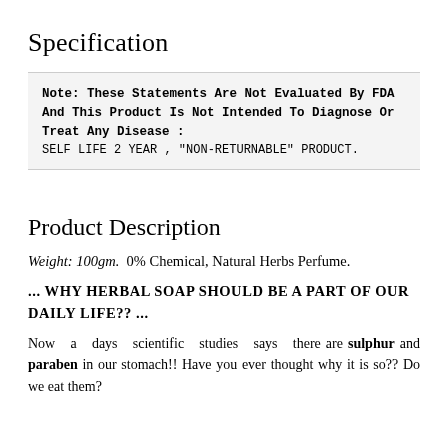Specification
Note: These Statements Are Not Evaluated By FDA And This Product Is Not Intended To Diagnose Or Treat Any Disease : SELF LIFE 2 YEAR , "NON-RETURNABLE" PRODUCT.
Product Description
Weight: 100gm.  0% Chemical, Natural Herbs Perfume.
... WHY HERBAL SOAP SHOULD BE A PART OF OUR DAILY LIFE?? ...
Now a days scientific studies says there are sulphur and paraben in our stomach!! Have you ever thought why it is so?? Do we eat them?